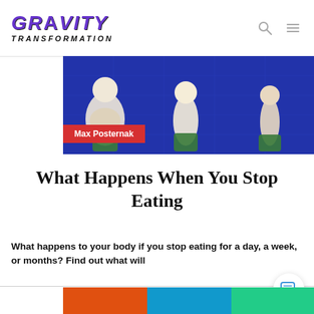GRAVITY TRANSFORMATION
[Figure (illustration): Animated illustration showing a body transformation sequence from overweight to lean physique, against a blue grid background]
Max Posternak
What Happens When You Stop Eating
What happens to your body if you stop eating for a day, a week, or months? Find out what will
Jan 16
2022
[Figure (photo): Partial bottom image strip showing a person's face/thumbnail]